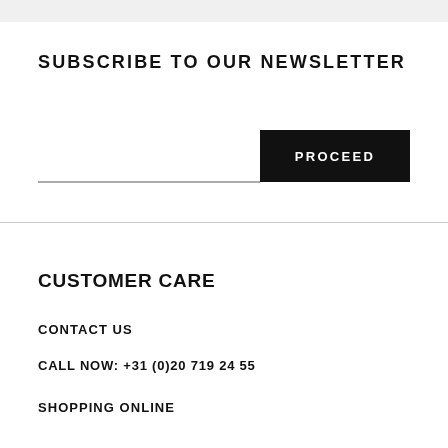SUBSCRIBE TO OUR NEWSLETTER
[Figure (other): Email input field with PROCEED button]
CUSTOMER CARE
CONTACT US
CALL NOW: +31 (0)20 719 24 55
SHOPPING ONLINE